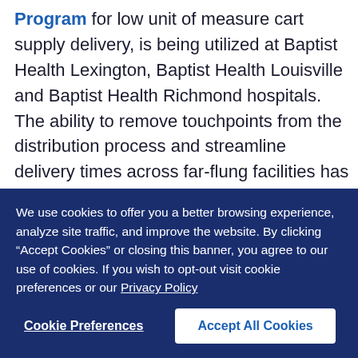Program for low unit of measure cart supply delivery, is being utilized at Baptist Health Lexington, Baptist Health Louisville and Baptist Health Richmond hospitals. The ability to remove touchpoints from the distribution process and streamline delivery times across far-flung facilities has saved Baptist Health millions in spending on non-clinical items, which will be reallocated toward patient care.
We use cookies to offer you a better browsing experience, analyze site traffic, and improve the website. By clicking “Accept Cookies” or closing this banner, you agree to our use of cookies. If you wish to opt-out visit cookie preferences or our Privacy Policy
Cookie Preferences
Accept All Cookies